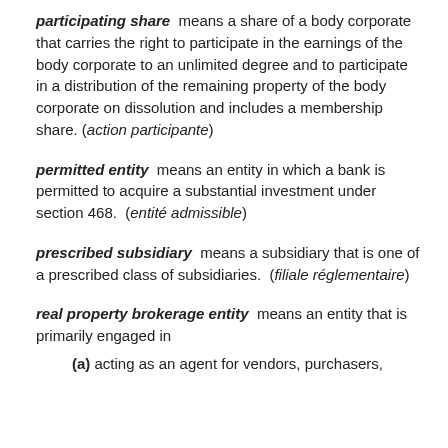participating share  means a share of a body corporate that carries the right to participate in the earnings of the body corporate to an unlimited degree and to participate in a distribution of the remaining property of the body corporate on dissolution and includes a membership share. (action participante)
permitted entity  means an entity in which a bank is permitted to acquire a substantial investment under section 468.  (entité admissible)
prescribed subsidiary  means a subsidiary that is one of a prescribed class of subsidiaries.  (filiale réglementaire)
real property brokerage entity  means an entity that is primarily engaged in
(a) acting as an agent for vendors, purchasers,